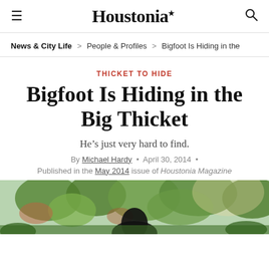Houstonia.
News & City Life > People & Profiles > Bigfoot Is Hiding in the
THICKET TO HIDE
Bigfoot Is Hiding in the Big Thicket
He’s just very hard to find.
By Michael Hardy • April 30, 2014 • Published in the May 2014 issue of Houstonia Magazine
[Figure (photo): Outdoor forest/nature photo showing trees and foliage, with a dark figure visible at the bottom.]